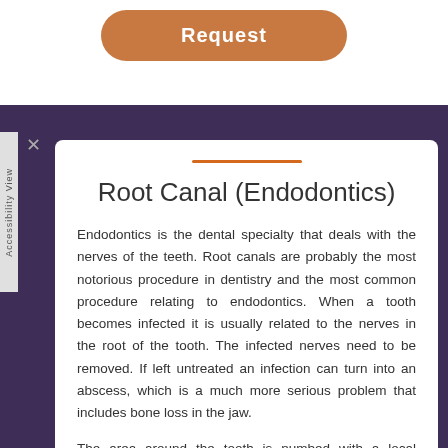[Figure (other): Orange rounded button with text 'Request']
Root Canal (Endodontics)
Endodontics is the dental specialty that deals with the nerves of the teeth. Root canals are probably the most notorious procedure in dentistry and the most common procedure relating to endodontics. When a tooth becomes infected it is usually related to the nerves in the root of the tooth. The infected nerves need to be removed. If left untreated an infection can turn into an abscess, which is a much more serious problem that includes bone loss in the jaw.
The area around the tooth is numbed with a local anesthetic to start the procedure. The dentist will then drill down into the tooth to create an opening